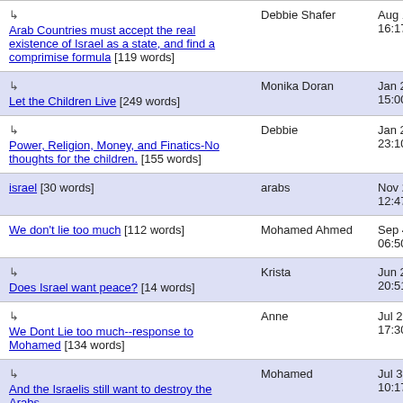| Title | Author | Date |
| --- | --- | --- |
| ↳ Arab Countries must accept the real existence of Israel as a state, and find a comprimise formula [119 words] | Debbie Shafer | Aug 15, 2008 16:17 |
| ↳ Let the Children Live [249 words] | Monika Doran | Jan 2, 2009 15:00 |
| ↳ Power, Religion, Money, and Finatics-No thoughts for the children. [155 words] | Debbie | Jan 2, 2009 23:10 |
| israel [30 words] | arabs | Nov 25, 2007 12:47 |
| We don't lie too much [112 words] | Mohamed Ahmed | Sep 4, 2006 06:50 |
| ↳ Does Israel want peace? [14 words] | Krista | Jun 28, 2008 20:51 |
| ↳ We Dont Lie too much--response to Mohamed [134 words] | Anne | Jul 28, 2008 17:30 |
| ↳ And the Israelis still want to destroy the Arabs [190 words] | Mohamed | Jul 30, 2008 10:17 |